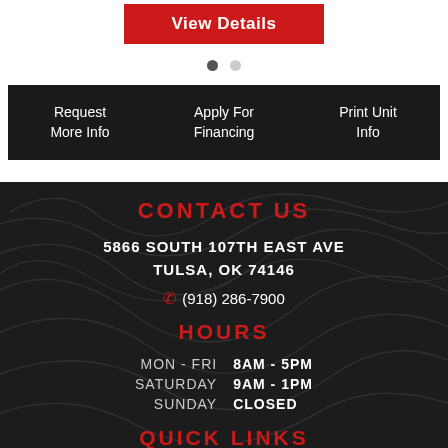[Figure (screenshot): Red 'View Details' button]
[Figure (other): Carousel dots — one filled, one empty]
[Figure (other): Three black action buttons: Request More Info, Apply For Financing, Print Unit Info]
CONTACT US
5866 SOUTH 107TH EAST AVE
TULSA, OK 74146
(918) 286-7900
HOURS
| MON - FRI | 8AM - 5PM |
| SATURDAY | 9AM - 1PM |
| SUNDAY | CLOSED |
QUICK LINKS